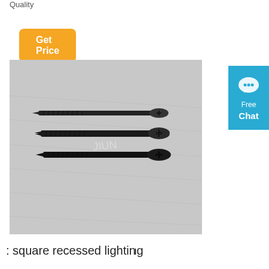Quality
Get Price
[Figure (photo): Three black drywall screws with Phillips heads lying on a light gray surface, slightly overlapping each other, viewed at an angle]
[Figure (other): Free Chat button widget in blue with speech bubble icon]
: square recessed lighting